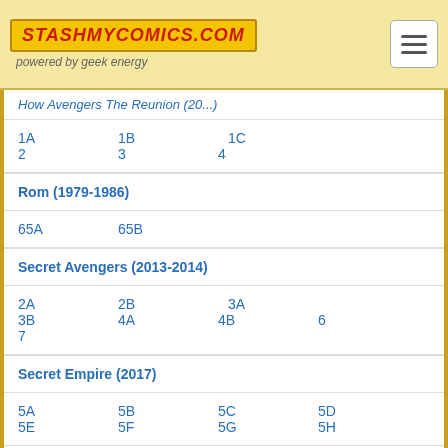StashMyComics.com - powered by geek energy
[partial title row - How Avengers The Reunion (20..)]
1A  1B  1C  2  3  4
Rom (1979-1986)
65A  65B
Secret Avengers (2013-2014)
2A  2B  3A  3B  4A  4B  6  7
Secret Empire (2017)
5A  5B  5C  5D  5E  5F  5G  5H
6D  6E  6F  6G  7A  7B  7C  7D
Secret Empire Underground
1A  1B
Secret Invasion (2008-2009)